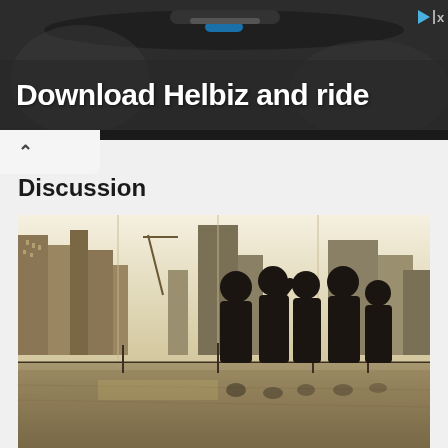[Figure (photo): Advertisement banner for Helbiz scooter app. Dark background with a scooter handlebar visible. Text reads 'Download Helbiz and ride'. Ad indicator icon in top right corner.]
Discussion
[Figure (photo): Sepia-toned photograph of silhouettes of a group of people standing on a reflective floor inside a glass building, with a city skyline visible in the background through large windows.]